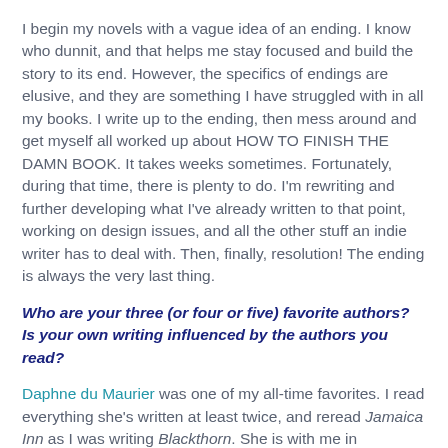I begin my novels with a vague idea of an ending. I know who dunnit, and that helps me stay focused and build the story to its end. However, the specifics of endings are elusive, and they are something I have struggled with in all my books. I write up to the ending, then mess around and get myself all worked up about HOW TO FINISH THE DAMN BOOK. It takes weeks sometimes. Fortunately, during that time, there is plenty to do. I'm rewriting and further developing what I've already written to that point, working on design issues, and all the other stuff an indie writer has to deal with. Then, finally, resolution! The ending is always the very last thing.
Who are your three (or four or five) favorite authors? Is your own writing influenced by the authors you read?
Daphne du Maurier was one of my all-time favorites. I read everything she's written at least twice, and reread Jamaica Inn as I was writing Blackthorn. She is with me in everything I write. Stephen King is a great storyteller. I read all his early books and short story collections and listened to It last